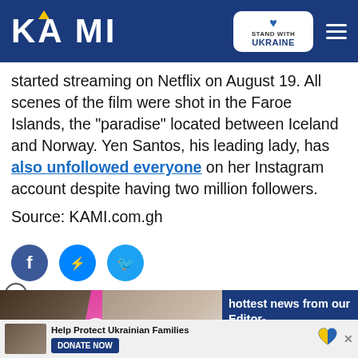KAMI — Stand with Ukraine
started streaming on Netflix on August 19. All scenes of the film were shot in the Faroe Islands, the "paradise" located between Iceland and Norway. Yen Santos, his leading lady, has also unfollowed everyone on her Instagram account despite having two million followers.
Source: KAMI.com.gh
[Figure (other): Social share icons: Facebook, Messenger, Twitter]
[Figure (other): Video promo: YOU DON'T KNOW WHAT THEY DID LAST SUMMER with play button overlay]
[Figure (other): Editor banner: hottest news from our Editor- with SIGN UP button]
[Figure (other): Ukraine charity ad: Help Protect Ukrainian Families — DONATE NOW button with heart badge]